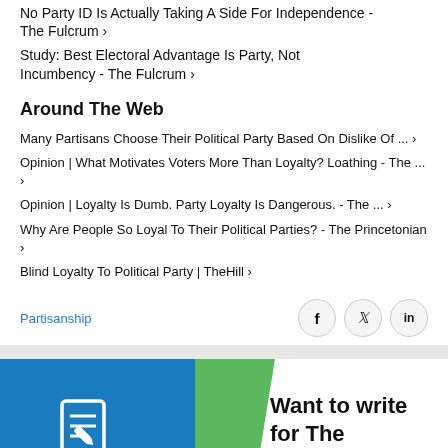No Party ID Is Actually Taking A Side For Independence - The Fulcrum ›
Study: Best Electoral Advantage Is Party, Not Incumbency - The Fulcrum ›
Around The Web
Many Partisans Choose Their Political Party Based On Dislike Of ... ›
Opinion | What Motivates Voters More Than Loyalty? Loathing - The ... ›
Opinion | Loyalty Is Dumb. Party Loyalty Is Dangerous. - The ... ›
Why Are People So Loyal To Their Political Parties? - The Princetonian ›
Blind Loyalty To Political Party | TheHill ›
Partisanship
[Figure (other): Want to write for The Fulcrum? banner with blue background, green diagonal stripe, and document/edit icon]